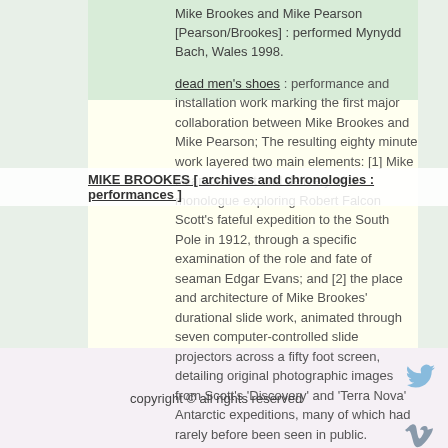Mike Brookes and Mike Pearson [Pearson/Brookes] : performed Mynydd Bach, Wales 1998.
MIKE BROOKES [ archives and chronologies : performances ]
dead men's shoes : performance and installation work marking the first major collaboration between Mike Brookes and Mike Pearson; The resulting eighty minute work layered two main elements: [1] Mike Pearson's text and delivery of a monologue exploring Robert Falcon Scott's fateful expedition to the South Pole in 1912, through a specific examination of the role and fate of seaman Edgar Evans; and [2] the place and architecture of Mike Brookes' durational slide work, animated through seven computer-controlled slide projectors across a fifty foot screen, detailing original photographic images from Scott's 'Discovery' and 'Terra Nova' Antarctic expeditions, many of which had rarely before been seen in public.
Mike Brookes and Mike Pearson [Pearson/Brookes] : performed UK and Brazil 1997
copyright © all rights reserved